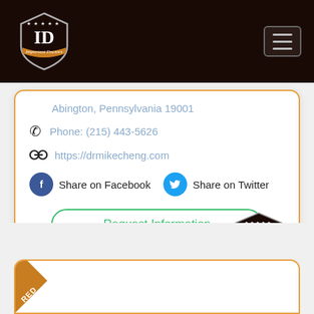[Figure (logo): Important Doctors shield logo with ID letters and orange banner on dark background]
[Figure (illustration): Hamburger menu icon button]
Abington, Pennsylvania 19001
Phone: (215) 443-5626
https://drmikecheng.com
Share on Facebook
Share on Twitter
Request Information
[Figure (logo): Important Doctors shield badge logo with ID letters and orange ribbon, dark brown background]
[Figure (illustration): Partial lower card with orange ribbon corner tag showing RED text]